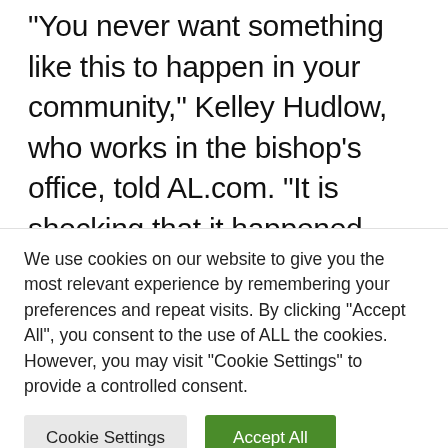“You never want something like this to happen in your community,” Kelley Hudlow, who works in the bishop’s office, told AL.com. “It is shocking that it happened here but we are going to love each other and take care of each other and find our way forward.”
Original report: According to police, the shooting occurred at Saint Stephen’s
We use cookies on our website to give you the most relevant experience by remembering your preferences and repeat visits. By clicking “Accept All”, you consent to the use of ALL the cookies. However, you may visit "Cookie Settings" to provide a controlled consent.